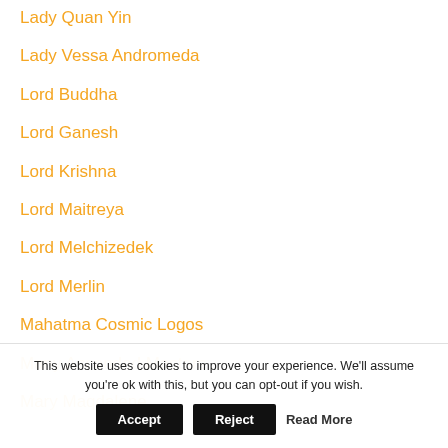Lady Quan Yin
Lady Vessa Andromeda
Lord Buddha
Lord Ganesh
Lord Krishna
Lord Maitreya
Lord Melchizedek
Lord Merlin
Mahatma Cosmic Logos
Many Ascended Masters
Mary Maqdalene
This website uses cookies to improve your experience. We'll assume you're ok with this, but you can opt-out if you wish. Accept Reject Read More